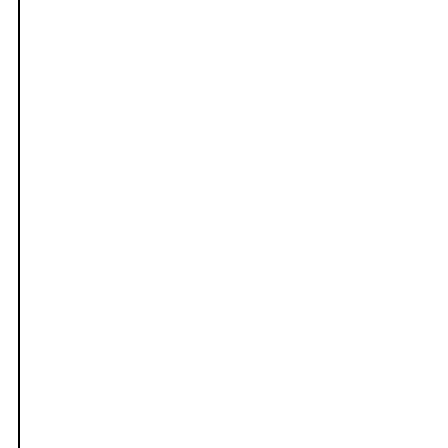produce such report immediately.
The administrative department of model patent concerned does not on the novelty or inventive step at the grounds with the copies of the
Article 57
The administrative department of error in the patent announcer announce the correction.
Chapter IV Reexamination of Pate
Article 58
The Patent Reexamination Board the administrative department of person responsible for the admini
Article 59
The applicant for reexamination u his application for reexamination and, when necessary, furnish the
If his application for reexaminatio